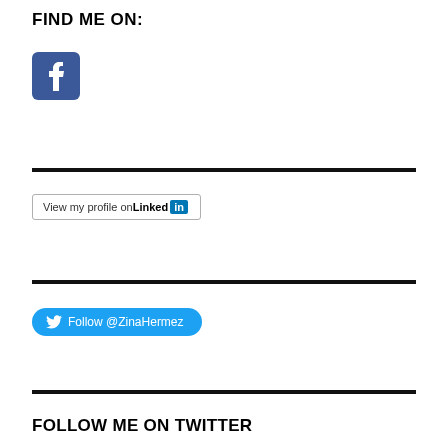FIND ME ON:
[Figure (logo): Facebook logo icon — blue square with white 'f' letter]
[Figure (other): LinkedIn 'View my profile on LinkedIn' button with blue border and LinkedIn logo]
[Figure (other): Twitter 'Follow @ZinaHermez' button — blue rounded pill with Twitter bird icon]
FOLLOW ME ON TWITTER